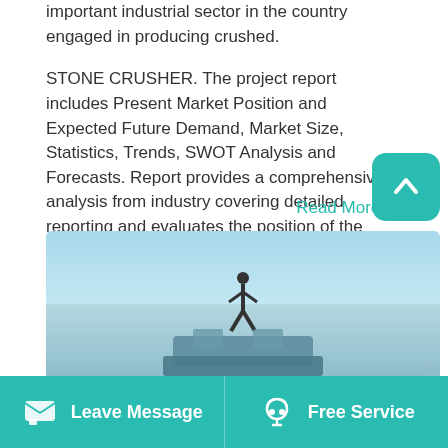important industrial sector in the country engaged in producing crushed.
STONE CRUSHER. The project report includes Present Market Position and Expected Future Demand, Market Size, Statistics, Trends, SWOT Analysis and Forecasts. Report provides a comprehensive analysis from industry covering detailed reporting and evaluates the position of the industry by providing insights to the SWOT analysis of the industry.
Read More →
[Figure (photo): A construction worker standing on top of a stone crusher machine against a light blue sky]
Leave Message   Free Service